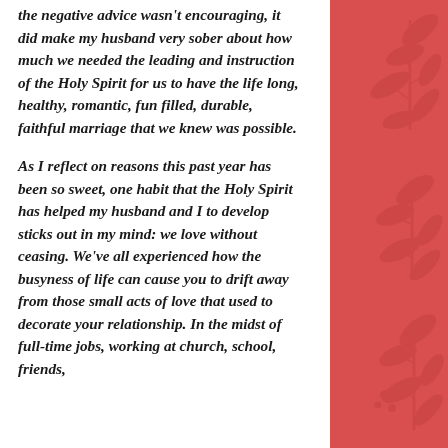the negative advice wasn't encouraging, it did make my husband very sober about how much we needed the leading and instruction of the Holy Spirit for us to have the life long, healthy, romantic, fun filled, durable, faithful marriage that we knew was possible.

As I reflect on reasons this past year has been so sweet, one habit that the Holy Spirit has helped my husband and I to develop sticks out in my mind: we love without ceasing. We've all experienced how the busyness of life can cause you to drift away from those small acts of love that used to decorate your relationship. In the midst of full-time jobs, working at church, school, friends, children, extended family, love with
[Figure (illustration): Red sidebar with decorative leaf/floral pattern overlay in a darker red tone]